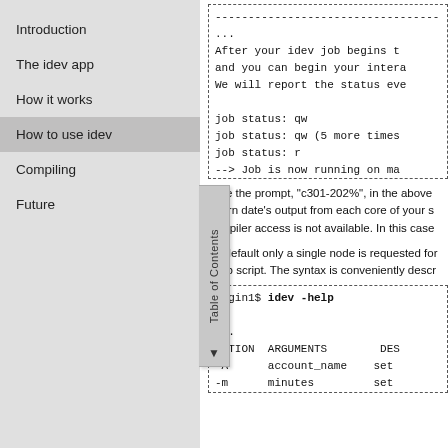Introduction
The idev app
How it works
How to use idev
Compiling
Future
[Figure (screenshot): Code block showing idev job output: dashed border box with lines: '...', 'After your idev job begins t...', 'and you can begin your intera...', 'We will report the status eve...', 'job status: qw', 'job status: qw (5 more times...', 'job status: r', '--> Job is now running on ma...', '--> Sleeping for 7 seconds..', '--> Checking to make sure yo...', '--> Creating interactive term...']
Note the prompt, "c301-202%", in the above... return date's output from each core of your s... compiler access is not available. In this case...
By default only a single node is requested for... a job script. The syntax is conveniently descr...
[Figure (screenshot): Code block showing idev help output: 'login1$ idev -help', '...', 'OPTION ARGUMENTS DESC...', '-A account_name set...', '-m minutes set...', '-p queue_name set...', '-r resource_name set...']